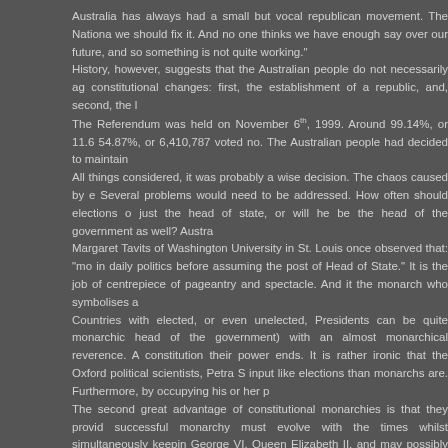Australia has always had a small but vocal republican movement. The Nationa we should fix it. And no one thinks we have enough say over our future, and so something is not quite working."
History, however, suggests that the Australian people do not necessarily ag constitutional changes: first, the establishment of a republic, and, second, the l
The Referendum was held on November 6th, 1999. Around 99.14%, or 11.6 54.87%, or 6,410,787 voted no. The Australian people had decided to maintain
All things considered, it was probably a wise decision. The chaos caused by e Several problems would need to be addressed. How often should elections o just the head of state, or will he be the head of the government as well? Austra
Margaret Tavits of Washington University in St. Louis once observed that: "mo in daily politics before assuming the post of Head of State." It is the job of centrepiece of pageantry and spectacle. And it the monarch who symbolises a
Countries with elected, or even unelected, Presidents can be quite monarchic head of the government) with an almost monarchical reverence. A constitution their power ends. It is rather ironic that the Oxford political scientists, Petra S input like elections than monarchs are. Furthermore, by occupying his or her p
The second great advantage of constitutional monarchies is that they provid successful monarchy must evolve with the times whilst simultaneously keepin George VI, Queen Elizabeth II, and may possibly live to see the coronation